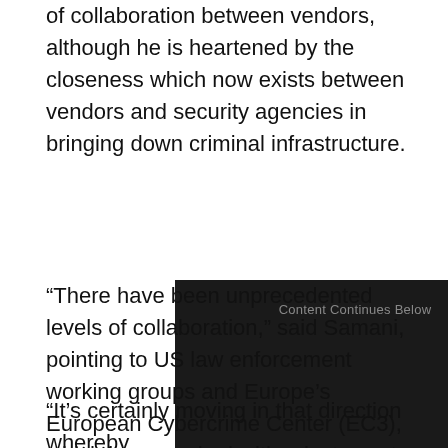of collaboration between vendors, although he is heartened by the closeness which now exists between vendors and security agencies in bringing down criminal infrastructure.
[Figure (other): Dark advertisement placeholder box with text 'Content Continues Below']
“There have been unprecedented levels of collaboration,” said Samani, pointing to US law enforcement working groups and Europe’s European Cybercrime Center (EC3), which have worked with private sector firms to launch operations again criminal groups.
“It’s certainly moving in that direction whereby